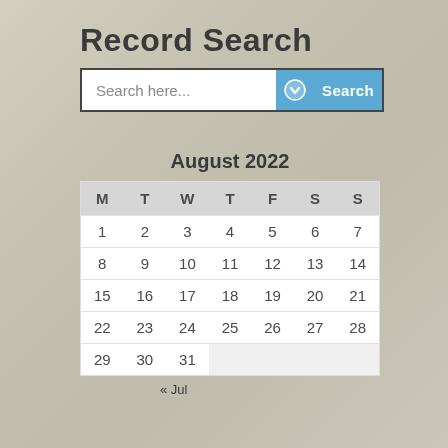Record Search
[Figure (screenshot): Search bar with text input 'Search here...', a dropdown button, and a 'Search' button]
August 2022
| M | T | W | T | F | S | S |
| --- | --- | --- | --- | --- | --- | --- |
| 1 | 2 | 3 | 4 | 5 | 6 | 7 |
| 8 | 9 | 10 | 11 | 12 | 13 | 14 |
| 15 | 16 | 17 | 18 | 19 | 20 | 21 |
| 22 | 23 | 24 | 25 | 26 | 27 | 28 |
| 29 | 30 | 31 |  |  |  |  |
« Jul